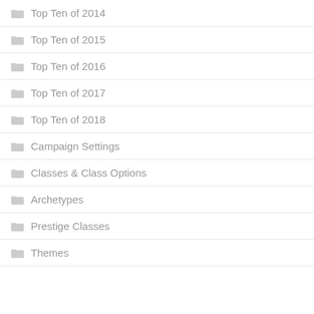Top Ten of 2014
Top Ten of 2015
Top Ten of 2016
Top Ten of 2017
Top Ten of 2018
Campaign Settings
Classes & Class Options
Archetypes
Prestige Classes
Themes